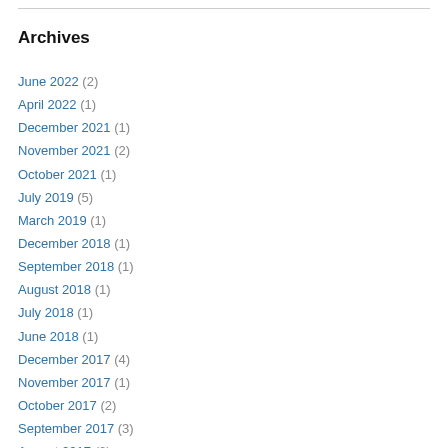Archives
June 2022 (2)
April 2022 (1)
December 2021 (1)
November 2021 (2)
October 2021 (1)
July 2019 (5)
March 2019 (1)
December 2018 (1)
September 2018 (1)
August 2018 (1)
July 2018 (1)
June 2018 (1)
December 2017 (4)
November 2017 (1)
October 2017 (2)
September 2017 (3)
August 2017 (2)